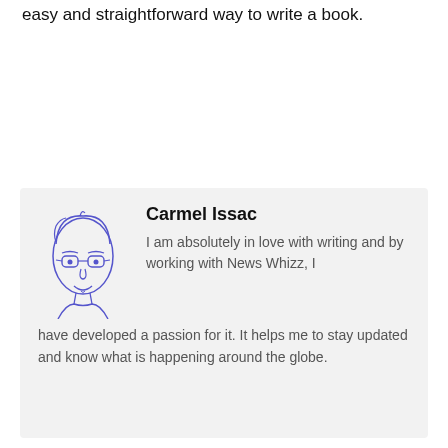easy and straightforward way to write a book.
[Figure (illustration): Hand-drawn avatar illustration of a person with glasses, drawn in blue/purple ink outline style]
Carmel Issac
I am absolutely in love with writing and by working with News Whizz, I have developed a passion for it. It helps me to stay updated and know what is happening around the globe.